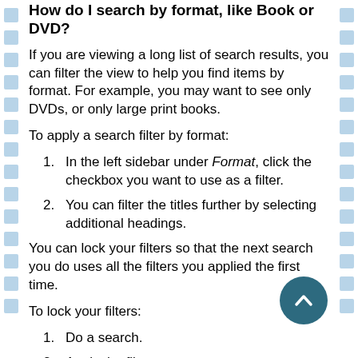How do I search by format, like Book or DVD?
If you are viewing a long list of search results, you can filter the view to help you find items by format. For example, you may want to see only DVDs, or only large print books.
To apply a search filter by format:
1. In the left sidebar under Format, click the checkbox you want to use as a filter.
2. You can filter the titles further by selecting additional headings.
You can lock your filters so that the next search you do uses all the filters you applied the first time.
To lock your filters:
1. Do a search.
2. Apply the filters you want to use.
3. In the Active Filters box above your search results, click the pin icon. The pin will moves